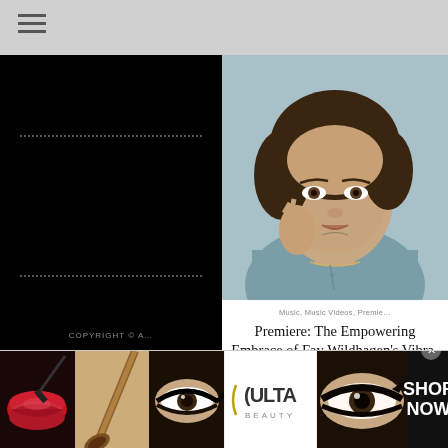≡
[Figure (photo): Navigation menu sidebar dark panel with dotted lines, copyright text, and BACK button]
[Figure (photo): Young woman with curly dark hair, hand near face, wearing light blue shirt, close-up portrait photo]
Music, Music Videos, Premiere
Premiere: The Empowering Embrace of Fay Wildhagen's Vibrant "Different"
[Figure (photo): Cosmetics advertisement banner showing red lips, makeup brush, eye makeup, Ulta Beauty logo, close-up eye with eyeliner, and SHOP NOW button]